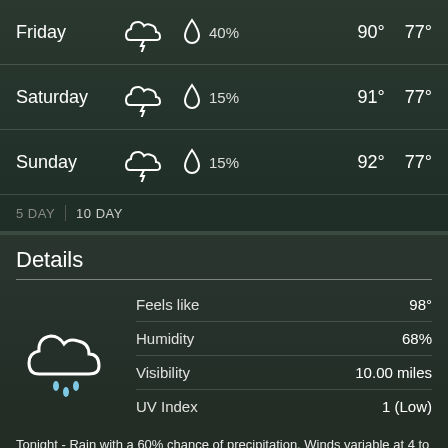| Day | Condition | Precipitation | High | Low |
| --- | --- | --- | --- | --- |
| Friday | Thunderstorm | 40% | 90° | 77° |
| Saturday | Thunderstorm | 15% | 91° | 77° |
| Sunday | Thunderstorm | 15% | 92° | 77° |
5 DAY  |  10 DAY
Details
| Metric | Value |
| --- | --- |
| Feels like | 98° |
| Humidity | 68% |
| Visibility | 10.00 miles |
| UV Index | 1 (Low) |
Tonight - Rain with a 60% chance of precipitation. Winds variable at 4 to 6 mph (6.4 to 9.7 kph). The overnight low will be 76 °F (24.4 °C).
Today - Scattered thunderstorms with a high of 90 °F (32.2 °C) and a 75% chance of precipitation. Winds variable at 5 to 9 mph (8.0 to